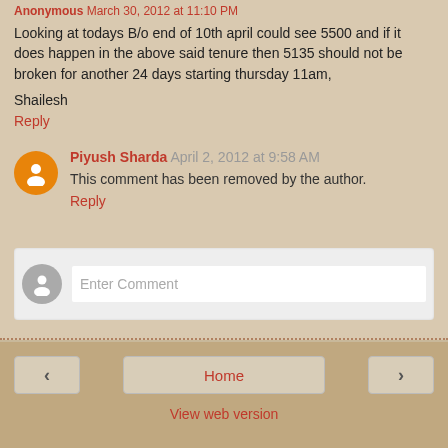Anonymous March 30, 2012 at 11:10 PM
Looking at todays B/o end of 10th april could see 5500 and if it does happen in the above said tenure then 5135 should not be broken for another 24 days starting thursday 11am,
Shailesh
Reply
Piyush Sharda April 2, 2012 at 9:58 AM
This comment has been removed by the author.
Reply
Enter Comment
Home
View web version